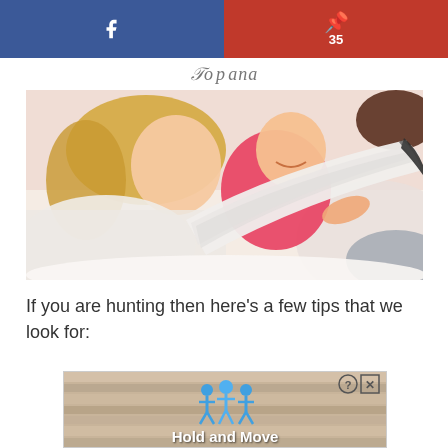Facebook share | Pinterest 35
[Figure (logo): Cursive handwritten logo/signature text in gray]
[Figure (photo): A smiling mother lying down reading a book with her happy baby in a pink onesie]
If you are hunting then here’s a few tips that we look for:
[Figure (screenshot): Advertisement banner showing cartoon figures and text 'Hold and Move' with close/question buttons]